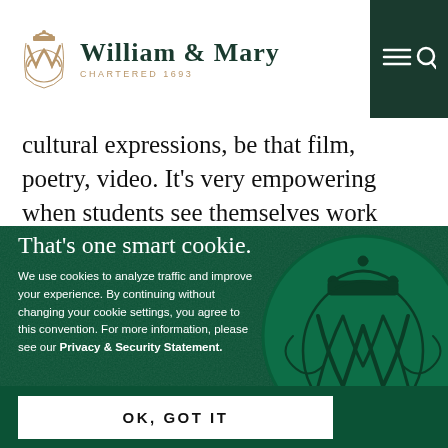[Figure (logo): William & Mary university logo with gold emblem and text 'WILLIAM & MARY CHARTERED 1693' on white header bar]
cultural expressions, be that film, poetry, video. It's very empowering when students see themselves work with...
That's one smart cookie.
We use cookies to analyze traffic and improve your experience. By continuing without changing your cookie settings, you agree to this convention. For more information, please see our Privacy & Security Statement.
[Figure (illustration): William & Mary royal wax seal on dark green textured background]
OK, GOT IT